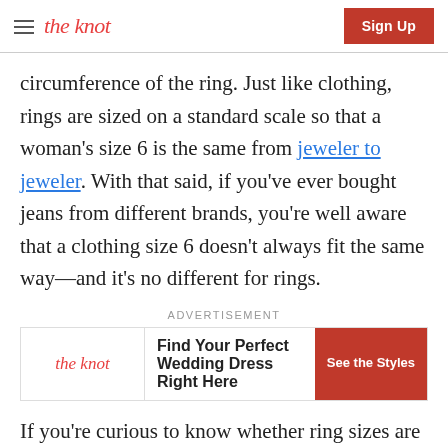the knot | Sign Up
circumference of the ring. Just like clothing, rings are sized on a standard scale so that a woman's size 6 is the same from jeweler to jeweler. With that said, if you've ever bought jeans from different brands, you're well aware that a clothing size 6 doesn't always fit the same way—and it's no different for rings.
[Figure (infographic): Advertisement banner for The Knot: 'Find Your Perfect Wedding Dress Right Here' with a 'See the Styles' call-to-action button]
If you're curious to know whether ring sizes are universal, the answer ultimately depends on where